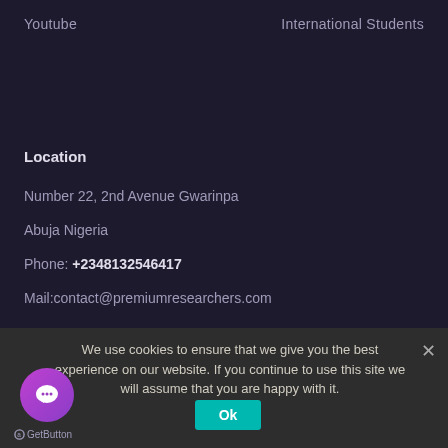Youtube    International Students
Location
Number 22, 2nd Avenue Gwarinpa
Abuja Nigeria
Phone: +2348132546417
Mail:contact@premiumresearchers.com
We use cookies to ensure that we give you the best experience on our website. If you continue to use this site we will assume that you are happy with it.
Ok
[Figure (illustration): Purple circular chat button with speech bubble icon, labeled GetButton below]